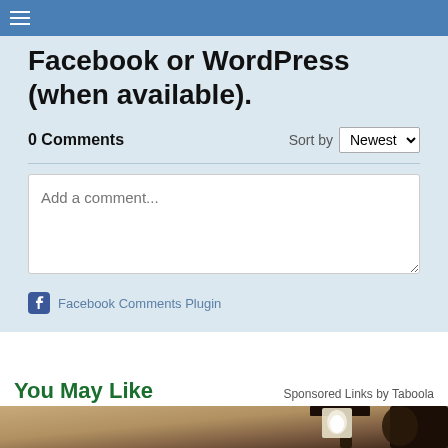Navigation menu bar
Facebook or WordPress (when available).
0 Comments
Sort by Newest
[Figure (screenshot): Comment input box with placeholder text 'Add a comment...']
Facebook Comments Plugin
You May Like
Sponsored Links by Taboola
[Figure (photo): Photo of an outdoor wall-mounted lantern light fixture with a white LED bulb, mounted on a textured beige stucco wall]